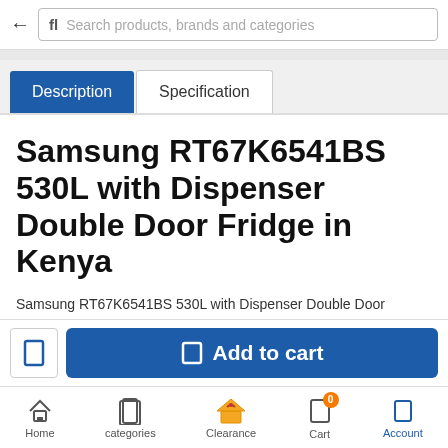Search products, brands and categories
Description | Specification
Samsung RT67K6541BS 530L with Dispenser Double Door Fridge in Kenya
Samsung RT67K6541BS 530L with Dispenser Double Door Fridge price in Kenya is 178000 Shillings. The Fridge features a
[Figure (screenshot): Add to cart button and wishlist button at bottom of screen]
Home | categories | Clearance | Cart (0) | Account